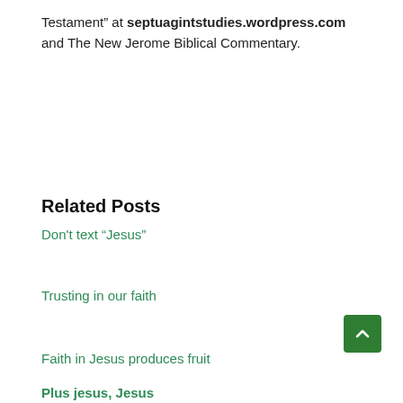Testament” at septuagintstudies.wordpress.com and The New Jerome Biblical Commentary.
Related Posts
Don't text “Jesus”
Trusting in our faith
Faith in Jesus produces fruit
Plus jesus, Jesus